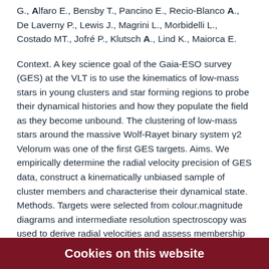G., Alfaro E., Bensby T., Pancino E., Recio-Blanco A., De Laverny P., Lewis J., Magrini L., Morbidelli L., Costado MT., Jofré P., Klutsch A., Lind K., Maiorca E.
Context. A key science goal of the Gaia-ESO survey (GES) at the VLT is to use the kinematics of low-mass stars in young clusters and star forming regions to probe their dynamical histories and how they populate the field as they become unbound. The clustering of low-mass stars around the massive Wolf-Rayet binary system γ2 Velorum was one of the first GES targets. Aims. We empirically determine the radial velocity precision of GES data, construct a kinematically unbiased sample of cluster members and characterise their dynamical state. Methods. Targets were selected from colour.magnitude diagrams and intermediate resolution spectroscopy was used to derive radial velocities and assess membership from the strength of the Li i 6708 A line. The radial velocity distribution...
Cookies on this website